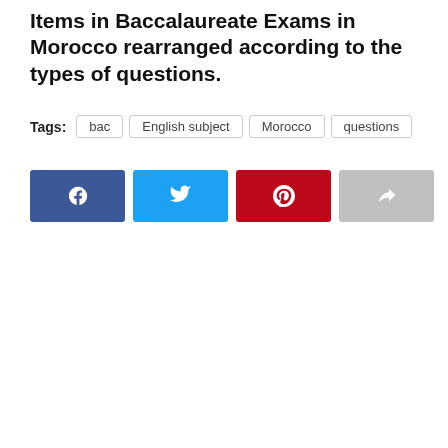Items in Baccalaureate Exams in Morocco rearranged according to the types of questions.
Tags: bac  English subject  Morocco  questions
[Figure (other): Social share buttons: Facebook, Twitter, Pinterest, Share]